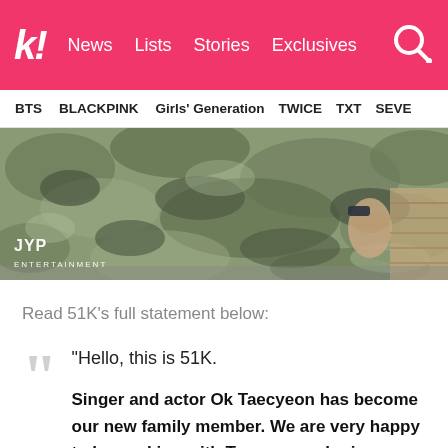k! News  Lists  Stories  Exclusives
BTS  BLACKPINK  Girls' Generation  TWICE  TXT  SEVE…
[Figure (photo): Person wearing military camouflage uniform, JYP Entertainment watermark in lower left corner]
Read 51K's full statement below:
“Hello, this is 51K.

Singer and actor Ok Taecyeon has become our new family member. We are very happy to be working with Taecyeon, who is considered one of